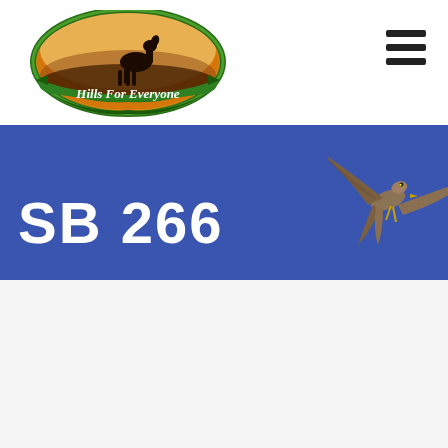[Figure (logo): Hills For Everyone logo - oval shape with deer silhouette and sunset, green banner with white text 'Hills For Everyone']
[Figure (other): Hamburger menu icon - three horizontal bars]
SB 266
[Figure (photo): Hawk or raptor bird in flight against blue sky, photographed from below]
[Figure (photo): Teal/blue background with Hills For Everyone logo centered]
Translate »